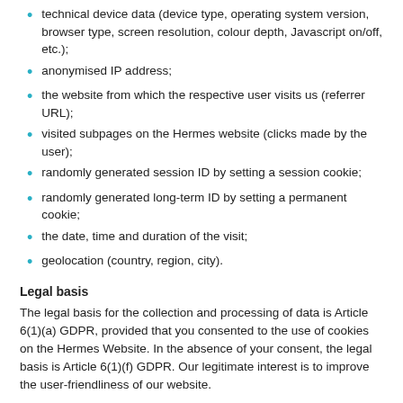technical device data (device type, operating system version, browser type, screen resolution, colour depth, Javascript on/off, etc.);
anonymised IP address;
the website from which the respective user visits us (referrer URL);
visited subpages on the Hermes website (clicks made by the user);
randomly generated session ID by setting a session cookie;
randomly generated long-term ID by setting a permanent cookie;
the date, time and duration of the visit;
geolocation (country, region, city).
Legal basis
The legal basis for the collection and processing of data is Article 6(1)(a) GDPR, provided that you consented to the use of cookies on the Hermes Website. In the absence of your consent, the legal basis is Article 6(1)(f) GDPR. Our legitimate interest is to improve the user-friendliness of our website.